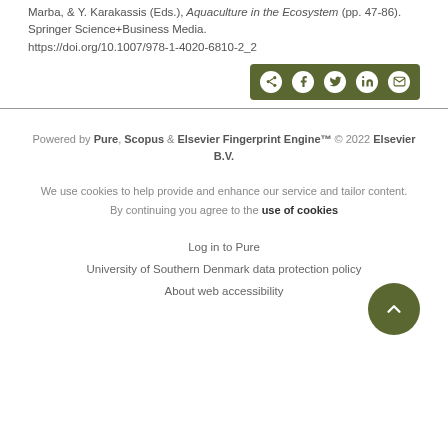Marba, & Y. Karakassis (Eds.), Aquaculture in the Ecosystem (pp. 47-86). Springer Science+Business Media. https://doi.org/10.1007/978-1-4020-6810-2_2
[Figure (other): Share bar with social media icons: share, Facebook, Twitter, LinkedIn, Email on dark green background]
Powered by Pure, Scopus & Elsevier Fingerprint Engine™ © 2022 Elsevier B.V.
We use cookies to help provide and enhance our service and tailor content. By continuing you agree to the use of cookies
Log in to Pure
University of Southern Denmark data protection policy
About web accessibility